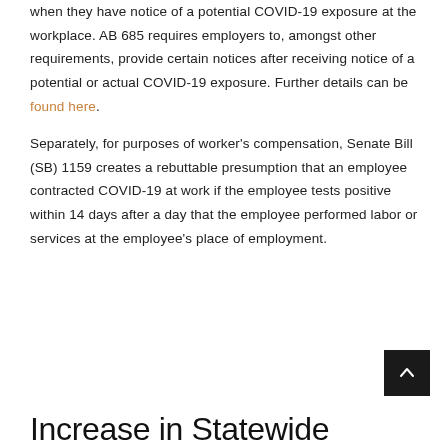when they have notice of a potential COVID-19 exposure at the workplace. AB 685 requires employers to, amongst other requirements, provide certain notices after receiving notice of a potential or actual COVID-19 exposure. Further details can be found here.
Separately, for purposes of worker's compensation, Senate Bill (SB) 1159 creates a rebuttable presumption that an employee contracted COVID-19 at work if the employee tests positive within 14 days after a day that the employee performed labor or services at the employee's place of employment.
Increase in Statewide